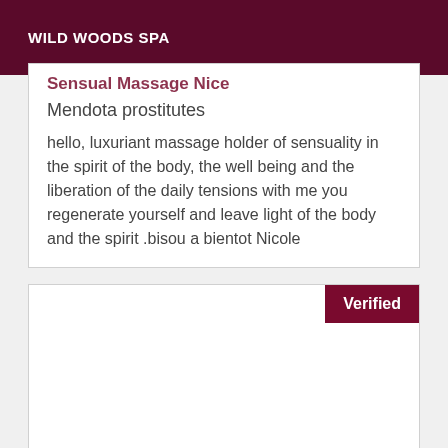WILD WOODS SPA
Sensual Massage Nice
Mendota prostitutes
hello, luxuriant massage holder of sensuality in the spirit of the body, the well being and the liberation of the daily tensions with me you regenerate yourself and leave light of the body and the spirit .bisou a bientot Nicole
Verified